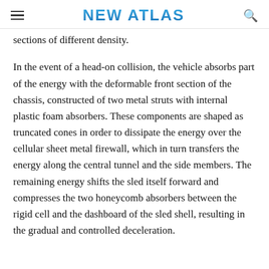NEW ATLAS
sections of different density.
In the event of a head-on collision, the vehicle absorbs part of the energy with the deformable front section of the chassis, constructed of two metal struts with internal plastic foam absorbers. These components are shaped as truncated cones in order to dissipate the energy over the cellular sheet metal firewall, which in turn transfers the energy along the central tunnel and the side members. The remaining energy shifts the sled itself forward and compresses the two honeycomb absorbers between the rigid cell and the dashboard of the sled shell, resulting in the gradual and controlled deceleration.